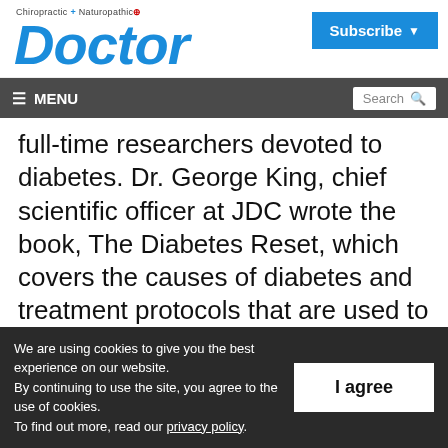Chiropractic + Naturopathic Doctor | Subscribe
≡ MENU | Search
full-time researchers devoted to diabetes. Dr. George King, chief scientific officer at JDC wrote the book, The Diabetes Reset, which covers the causes of diabetes and treatment protocols that are used to reverse diabetes at the Joslin clinic.
We are using cookies to give you the best experience on our website.
By continuing to use the site, you agree to the use of cookies.
To find out more, read our privacy policy.